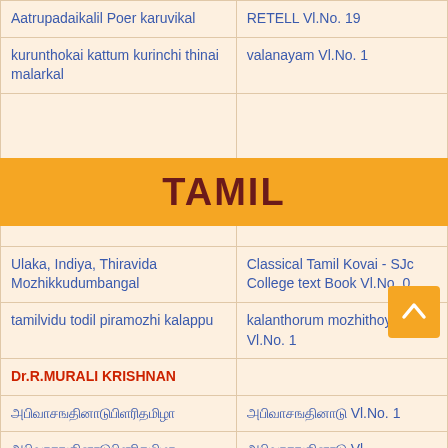| Title | Publication |
| --- | --- |
| Aatrupadaikalil Poer karuvikal | RETELL Vl.No. 19 |
| kurunthokai kattum kurinchi thinai malarkal | valanayam Vl.No. 1 |
|  | tamilnadu in Tamil Works Vl.No. 1 |
| Ulaka, Indiya, Thiravida Mozhikkudumbangal | Classical Tamil Kovai - SJc College text Book Vl.No. 0 |
| tamilvidu todil piramozhi kalappu | kalanthorum mozhithoymai Vl.No. 1 |
| Dr.R.MURALI KRISHNAN |  |
| [Tamil text] | [Tamil text] Vl.No. 1 |
| [Tamil text] | [Tamil text] Vl. |
| [Tamil text] | [Tamil text] Vl. No. 1 |
TAMIL